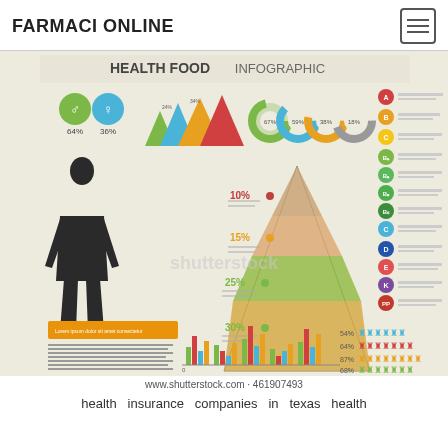FARMACI ONLINE
[Figure (infographic): Health Food Infographic showing food pyramid with percentage breakdowns (10%, 15%, 25%, 30%), male/female silhouettes (64% / 36%), mountain chart, donut charts, vitamin legend (A, B, C, D, E, K, PP), bar chart, and people icons with percentages (54%, 64%, 87%, 68%). Shutterstock watermark visible.]
www.shutterstock.com · 461907493
health insurance companies in texas health